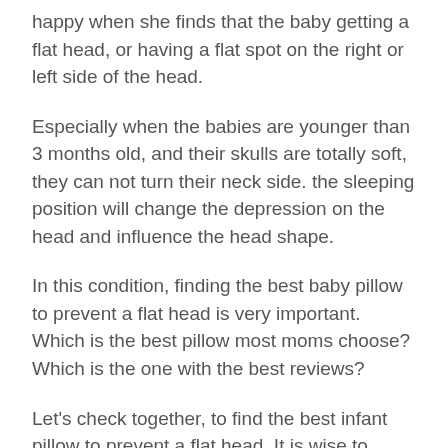happy when she finds that the baby getting a flat head, or having a flat spot on the right or left side of the head.
Especially when the babies are younger than 3 months old, and their skulls are totally soft, they can not turn their neck side. the sleeping position will change the depression on the head and influence the head shape.
In this condition, finding the best baby pillow to prevent a flat head is very important. Which is the best pillow most moms choose? Which is the one with the best reviews?
Let's check together, to find the best infant pillow to prevent a flat head. It is wise to choose the one highly recommended.